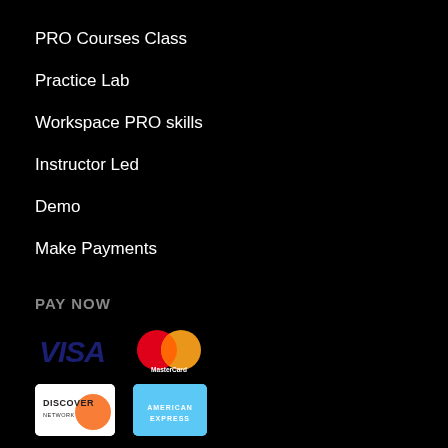PRO Courses Class
Practice Lab
Workspace PRO skills
Instructor Led
Demo
Make Payments
PAY NOW
[Figure (logo): Payment logos: VISA, MasterCard, Discover, American Express, PayPal]